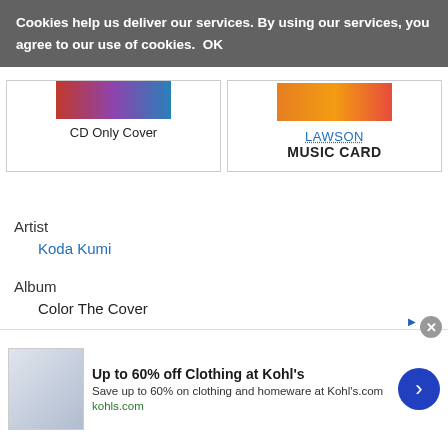Cookies help us deliver our services. By using our services, you agree to our use of cookies. OK
CD Only Cover
LAWSON
MUSIC CARD
Artist
Koda Kumi
Album
Color The Cover
Released
13.02.27
infolinks
Up to 60% off Clothing at Kohl's
Save up to 60% on clothing and homeware at Kohl's.com
kohls.com